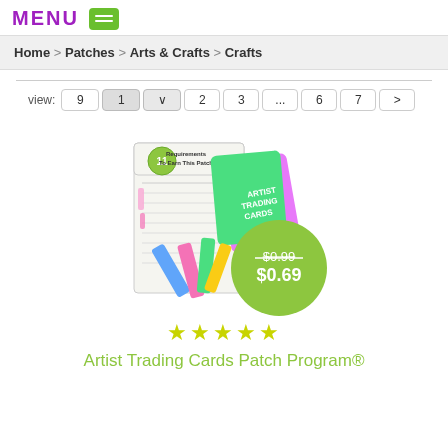MENU [icon]
Home > Patches > Arts & Crafts > Crafts
view: 9  1 2 3 ... 6 7 >
[Figure (photo): Artist Trading Cards Patch Program product image showing colorful crayons, art cards, and a pink circular patch. A green price badge shows original price $0.99 crossed out and sale price $0.69.]
★★★★★
Artist Trading Cards Patch Program®